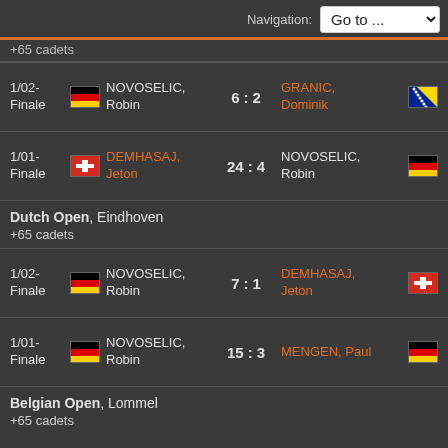Navigation: Go to ...
+65 cadets
| Stage | Player 1 | Score | Player 2 |
| --- | --- | --- | --- |
| 1/02-Finale | NOVOSELIC, Robin (GER) | 6 : 2 | GRANIC, Dominik (BIH) |
| 1/01-Finale | DEMHASAJ, Jeton (SUI) | 24 : 4 | NOVOSELIC, Robin (GER) |
Dutch Open, Eindhoven
+65 cadets
| Stage | Player 1 | Score | Player 2 |
| --- | --- | --- | --- |
| 1/02-Finale | NOVOSELIC, Robin (GER) | 7 : 1 | DEMHASAJ, Jeton (SUI) |
| 1/01-Finale | NOVOSELIC, Robin (GER) | 15 : 3 | MENGEN, Paul (GER) |
Belgian Open, Lommel
+65 cadets